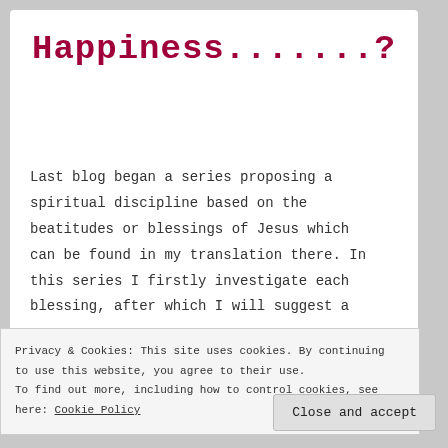Happiness.......?
Last blog began a series proposing a spiritual discipline based on the beatitudes or blessings of Jesus which can be found in my translation there. In this series I firstly investigate each blessing, after which I will suggest a
Privacy & Cookies: This site uses cookies. By continuing to use this website, you agree to their use.
To find out more, including how to control cookies, see here: Cookie Policy
Close and accept